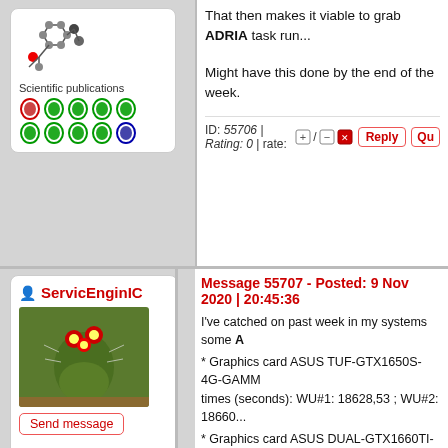[Figure (illustration): Molecular structure icon (phenylalanine) shown in top-left profile box]
Scientific publications
[Figure (illustration): Row of colored badge/shield icons representing scientific publications]
That then makes it viable to grab ADRIA task run...
Might have this done by the end of the week.
ID: 55706 | Rating: 0 | rate: [+] / [-][x]
ServicEnginIC
[Figure (photo): Photo of flowering cactus plant with red and yellow flowers]
Send message
Joined: 24 Sep 10
Posts: 520
Credit: 2,274,823,465
RAC: 143,419
Level
[Figure (illustration): Molecular structure icon (phenylalanine) shown in bottom-left profile]
Message 55707 - Posted: 9 Nov 2020 | 20:45:36
I've catched on past week in my systems some A...
* Graphics card ASUS TUF-GTX1650S-4G-GAMM... times (seconds): WU#1: 18628,53 ; WU#2: 18660...
* Graphics card ASUS DUAL-GTX1660TI-O6G , ... WU#1: 16941,52 ; WU#2: 16998,69
-1) So far, execution times for ADRIA tasks are re...
* Graphics card ASUS ROG-STRIX-GTX1650-O4... (seconds): WU#1: 23941,33 ; WU#2: 23937,18 ; ...
-2) Ooops!!! What's happened here? Execution ti... model.
The explanation: WU#1 and WU#2 were executed... a PCIE gen 3.0 x4 slot.
Both are installed at the same multiGPU system,... are runing at x4, thus limiting performance for AD...
Conclusion: Execution times are not only showin...